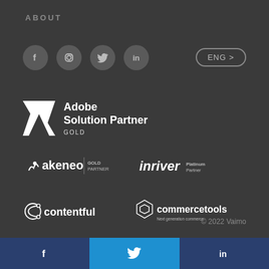ABOUT
[Figure (illustration): Social media icons: Facebook, Instagram, Twitter, LinkedIn in grey circles]
[Figure (illustration): ENG > language selector button with rounded border]
[Figure (logo): Adobe Solution Partner GOLD logo with white Adobe 'A' symbol]
[Figure (logo): akeneo GOLD PARTNER logo]
[Figure (logo): inriver Platinum Partner logo]
[Figure (logo): contentful logo]
[Figure (logo): commercetools Next generation commerce logo]
© 2022 Vaimo
[Figure (illustration): Bottom navigation bar with Facebook, Twitter (highlighted blue), and LinkedIn icons]